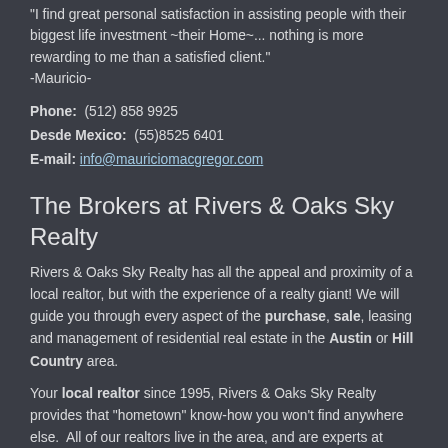"I find great personal satisfaction in assisting people with their biggest life investment ~their Home~... nothing is more rewarding to me than a satisfied client."
-Mauricio-
Phone:  (512) 858 9925
Desde Mexico:  (55)8525 6401
E-mail: info@mauriciomacgregor.com
The Brokers at Rivers & Oaks Sky Realty
Rivers & Oaks Sky Realty has all the appeal and proximity of a local realtor, but with the experience of a realty giant! We will guide you through every aspect of the purchase, sale, leasing and management of residential real estate in the Austin or Hill Country area.
Your local realtor since 1995, Rivers & Oaks Sky Realty provides that "hometown" know-how you won't find anywhere else.  All of our realtors live in the area, and are experts at answering any questions you may have about the community.
Whether you're moving out, moving in or just moving on, let us help you find the property that exceeds your demands.
You can learn a little about our experienced brokers right here. We look forward to meeting you in person, so make an appointment or stop by